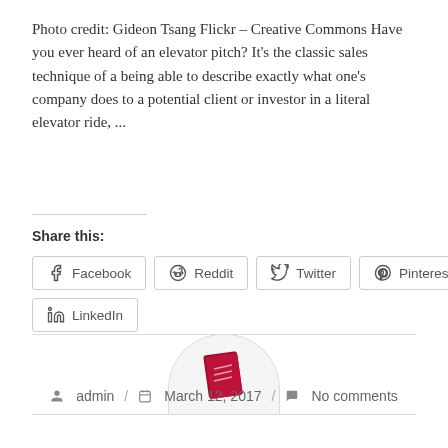Photo credit: Gideon Tsang Flickr – Creative Commons Have you ever heard of an elevator pitch? It's the classic sales technique of a being able to describe exactly what one's company does to a potential client or investor in a literal elevator ride, ...
Share this:
Facebook  Reddit  Twitter  Pinterest  LinkedIn
[Figure (illustration): Blog/ReadyToManage logo icon — a red book/notebook icon inside a grey semicircle arc at the top of a white card area]
admin  /  March 12, 2017  /  No comments